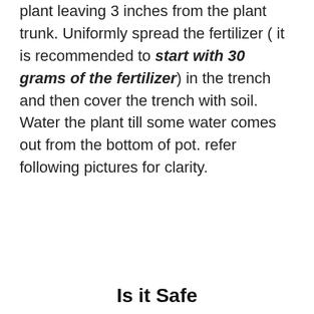plant leaving 3 inches from the plant trunk. Uniformly spread the fertilizer ( it is recommended to start with 30 grams of the fertilizer) in the trench and then cover the trench with soil. Water the plant till some water comes out from the bottom of pot. refer following pictures for clarity.
Is it Safe